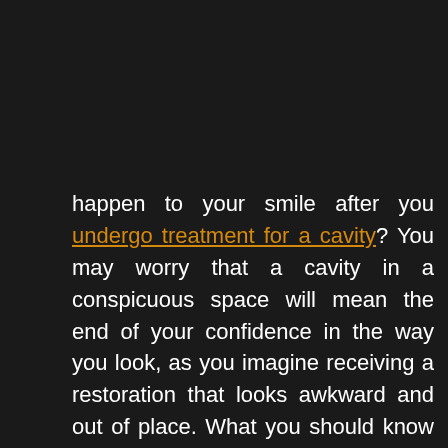happen to your smile after you undergo treatment for a cavity? You may worry that a cavity in a conspicuous space will mean the end of your confidence in the way you look, as you imagine receiving a restoration that looks awkward and out of place. What you should know is that at our Sheridan, WY dentist's office, we can actually provide restorations that blend in with your surrounding enamel in order to preserve your smile. When it comes to placing dental fillings, we can use a material that matches the appearance of your surrounding tooth structure. What this